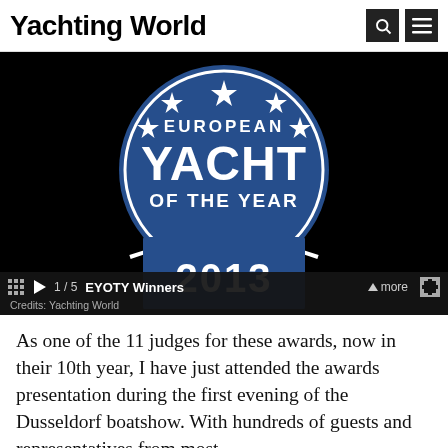Yachting World
[Figure (photo): European Yacht of the Year 2013 award logo — a round blue badge with stars showing 'EUROPEAN YACHT OF THE YEAR' text and '2013' on a blue banner ribbon below, displayed as a slideshow frame against a black background.]
1 / 5  EYOTY Winners
Credits: Yachting World
As one of the 11 judges for these awards, now in their 10th year, I have just attended the awards presentation during the first evening of the Dusseldorf boatshow. With hundreds of guests and representatives from most